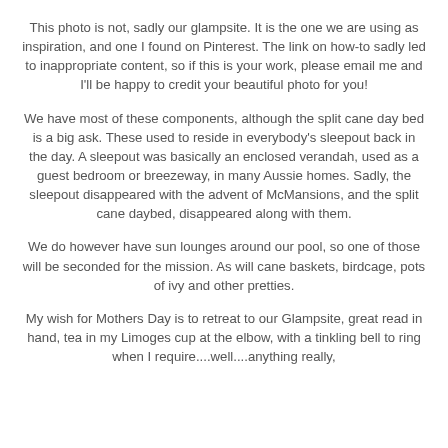This photo is not, sadly our glampsite. It is the one we are using as inspiration, and one I found on Pinterest. The link on how-to sadly led to inappropriate content, so if this is your work, please email me and I'll be happy to credit your beautiful photo for you!
We have most of these components, although the split cane day bed is a big ask. These used to reside in everybody's sleepout back in the day. A sleepout was basically an enclosed verandah, used as a guest bedroom or breezeway, in many Aussie homes. Sadly, the sleepout disappeared with the advent of McMansions, and the split cane daybed, disappeared along with them.
We do however have sun lounges around our pool, so one of those will be seconded for the mission. As will cane baskets, birdcage, pots of ivy and other pretties.
My wish for Mothers Day is to retreat to our Glampsite, great read in hand, tea in my Limoges cup at the elbow, with a tinkling bell to ring when I require....well....anything really,